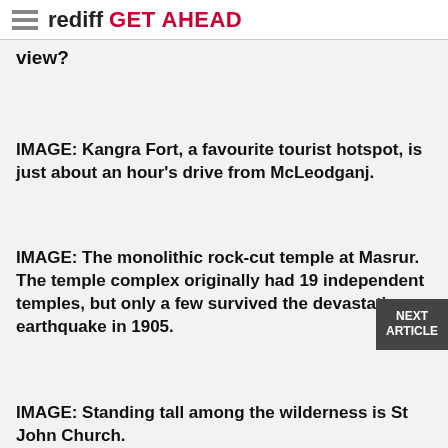rediff GET AHEAD
view?
IMAGE: Kangra Fort, a favourite tourist hotspot, is just about an hour's drive from McLeodganj.
IMAGE: The monolithic rock-cut temple at Masrur. The temple complex originally had 19 independent temples, but only a few survived the devastating earthquake in 1905.
IMAGE: Standing tall among the wilderness is St John Church.